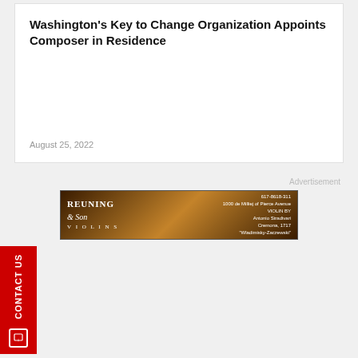Washington's Key to Change Organization Appoints Composer in Residence
August 25, 2022
Advertisement
[Figure (other): Advertisement banner for Reuning & Son Violins with wood-grain background texture and text details about violin]
CONTACT US